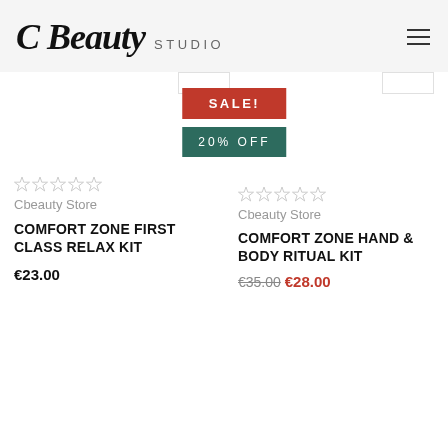C Beauty STUDIO
[Figure (infographic): SALE! badge in red and 20% OFF badge in teal/dark green, with partial product card tabs visible on left and right edges]
[Figure (other): Five empty star rating icons (grey outlines)]
Cbeauty Store
COMFORT ZONE FIRST CLASS RELAX KIT
€23.00
[Figure (other): Five empty star rating icons (grey outlines)]
Cbeauty Store
COMFORT ZONE HAND & BODY RITUAL KIT
€35.00  €28.00